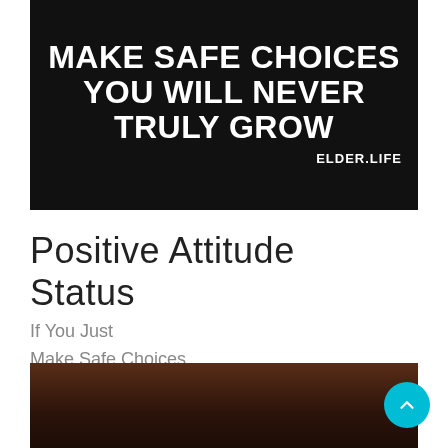[Figure (photo): Dark background motivational image with white bold text reading 'MAKE SAFE CHOICES YOU WILL NEVER TRULY GROW' with ELDER.LIFE branding in bottom right]
Positive Attitude Status
If You Just
Make Safe Choices
You Will Never
Truly Grow.
[Figure (photo): Dark brown wooden surface image, partially visible at bottom of page]